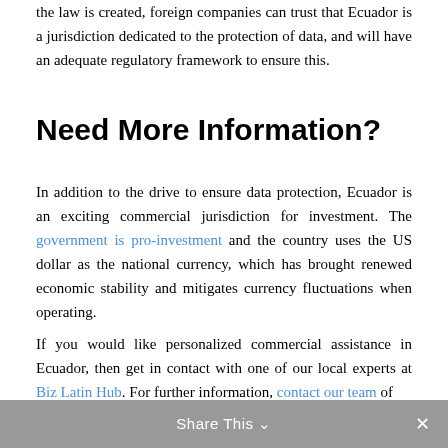the law is created, foreign companies can trust that Ecuador is a jurisdiction dedicated to the protection of data, and will have an adequate regulatory framework to ensure this.
Need More Information?
In addition to the drive to ensure data protection, Ecuador is an exciting commercial jurisdiction for investment. The government is pro-investment and the country uses the US dollar as the national currency, which has brought renewed economic stability and mitigates currency fluctuations when operating.
If you would like personalized commercial assistance in Ecuador, then get in contact with one of our local experts at Biz Latin Hub. For further information, contact our team of experts today.
Share This ✓